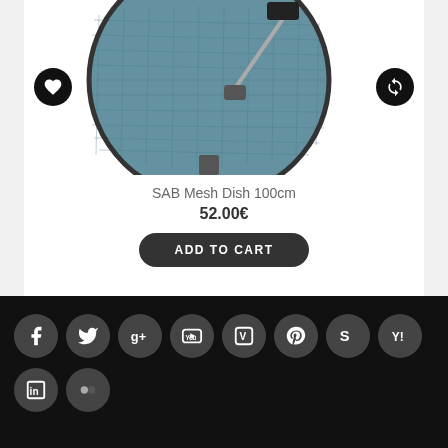[Figure (photo): Satellite dish (SAB Mesh Dish 100cm) product photo with circular mesh dish on white background]
SAB Mesh Dish 100cm
52.00€
ADD TO CART
[Figure (infographic): Social media icon buttons row in dark footer: Facebook, Twitter, Google+, YouTube, Vimeo, Pinterest, Skype, Yahoo, LinkedIn, Flickr]